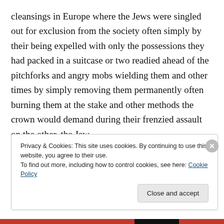cleansings in Europe where the Jews were singled out for exclusion from the society often simply by their being expelled with only the possessions they had packed in a suitcase or two readied ahead of the pitchforks and angry mobs wielding them and other times by simply removing them permanently often burning them at the stake and other methods the crown would demand during their frenzied assault on the other, the Jew.
Privacy & Cookies: This site uses cookies. By continuing to use this website, you agree to their use. To find out more, including how to control cookies, see here: Cookie Policy